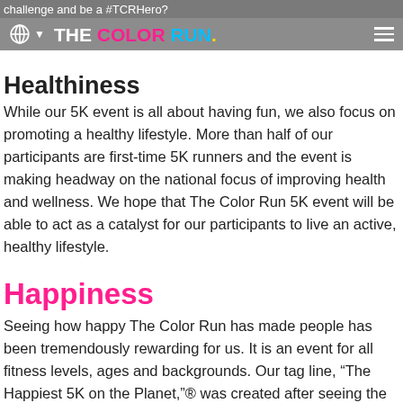challenge and be a #TCRHero?
[Figure (logo): The Color Run logo with globe icon and hamburger menu on grey navigation bar]
Healthiness
While our 5K event is all about having fun, we also focus on promoting a healthy lifestyle. More than half of our participants are first-time 5K runners and the event is making headway on the national focus of improving health and wellness. We hope that The Color Run 5K event will be able to act as a catalyst for our participants to live an active, healthy lifestyle.
Happiness
Seeing how happy The Color Run has made people has been tremendously rewarding for us. It is an event for all fitness levels, ages and backgrounds. Our tag line, “The Happiest 5K on the Planet,”® was created after seeing the expressions of pure joy from participants. Want to add some happiness to your life? Find Your